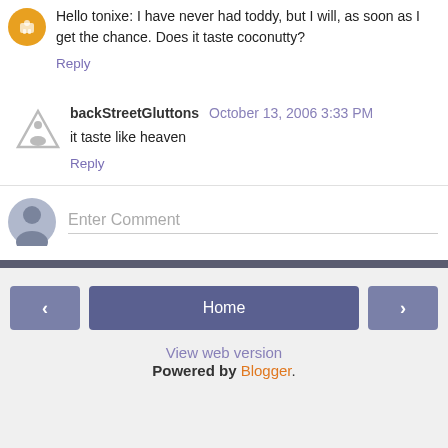Hello tonixe: I have never had toddy, but I will, as soon as I get the chance. Does it taste coconutty?
Reply
backStreetGluttons October 13, 2006 3:33 PM
it taste like heaven
Reply
Enter Comment
Home
View web version
Powered by Blogger.